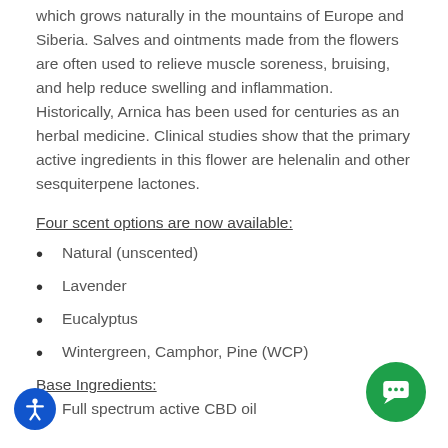Arnica comes from the perennial flower Arnica Montana which grows naturally in the mountains of Europe and Siberia. Salves and ointments made from the flowers are often used to relieve muscle soreness, bruising, and help reduce swelling and inflammation. Historically, Arnica has been used for centuries as an herbal medicine. Clinical studies show that the primary active ingredients in this flower are helenalin and other sesquiterpene lactones.
Four scent options are now available:
Natural (unscented)
Lavender
Eucalyptus
Wintergreen, Camphor, Pine (WCP)
Base Ingredients:
Full spectrum active CBD oil